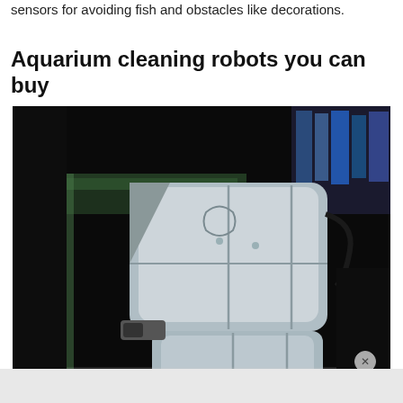sensors for avoiding fish and obstacles like decorations.
Aquarium cleaning robots you can buy
[Figure (photo): Close-up photograph of a silver/grey aquarium cleaning robot device straddling the glass edge of a fish tank. The robot has a boxy shape with rounded edges and is clamped onto the aquarium glass. The background is dark/black and there are blue items visible in the upper right corner.]